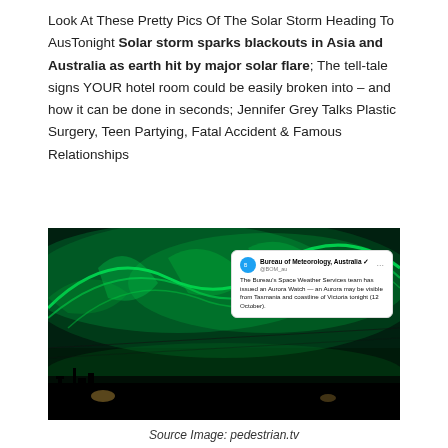Look At These Pretty Pics Of The Solar Storm Heading To AusTonight Solar storm sparks blackouts in Asia and Australia as earth hit by major solar flare; The tell-tale signs YOUR hotel room could be easily broken into – and how it can be done in seconds; Jennifer Grey Talks Plastic Surgery, Teen Partying, Fatal Accident & Famous Relationships
[Figure (photo): Aurora australis (southern lights) photo showing vivid green aurora streaks over a dark landscape silhouette at night, with an overlaid tweet from Bureau of Meteorology Australia (@BOM_au) reading: 'The Bureau's Space Weather Services team has issued an Aurora Watch — an Aurora may be visible from Tasmania and coastline of Victoria tonight (12 October).']
Source Image: pedestrian.tv